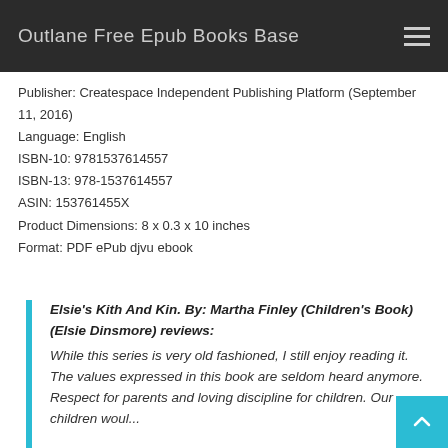Outlane Free Epub Books Base
Publisher: Createspace Independent Publishing Platform (September 11, 2016)
Language: English
ISBN-10: 9781537614557
ISBN-13: 978-1537614557
ASIN: 153761455X
Product Dimensions: 8 x 0.3 x 10 inches
Format: PDF ePub djvu ebook
Elsie's Kith And Kin. By: Martha Finley (Children's Book) (Elsie Dinsmore) reviews: While this series is very old fashioned, I still enjoy reading it. The values expressed in this book are seldom heard anymore. Respect for parents and loving discipline for children. Our children woul...